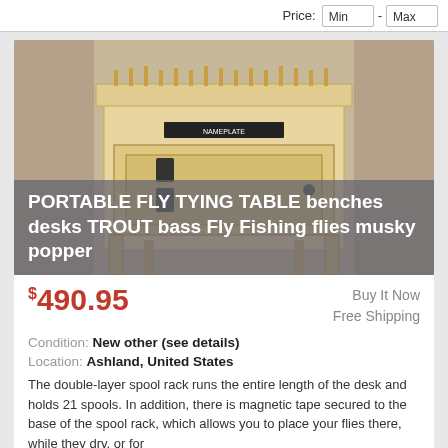Price: Min - Max
[Figure (photo): Wooden portable fly tying table with double-layer spool rack on top and cabinet door with black hinges]
PORTABLE FLY TYING TABLE benches desks TROUT bass Fly Fishing flies musky popper
$490.95
Buy It Now
Free Shipping
Condition: New other (see details)
Location: Ashland, United States
The double-layer spool rack runs the entire length of the desk and holds 21 spools. In addition, there is magnetic tape secured to the base of the spool rack, which allows you to place your flies there, while they dry, or for